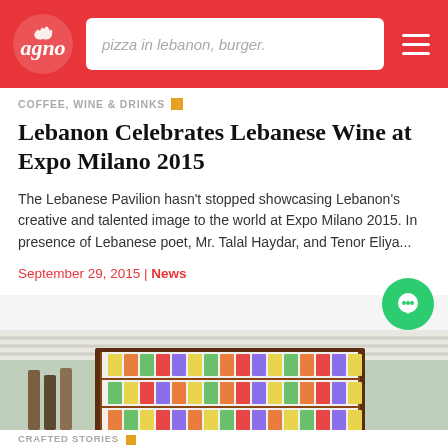pizza in lebanon, burger. [navigation header with logo and hamburger menu]
COFFEE, WINE & DRINKS
Lebanon Celebrates Lebanese Wine at Expo Milano 2015
The Lebanese Pavilion hasn't stopped showcasing Lebanon's creative and talented image to the world at Expo Milano 2015. In presence of Lebanese poet, Mr. Talal Haydar, and Tenor Eliya...
September 29, 2015 | News
[Figure (photo): Interior photo showing a large display cabinet filled with colorful jars and bottles arranged on shelves, with liquor bottles visible on the left side, in a restaurant or bar setting.]